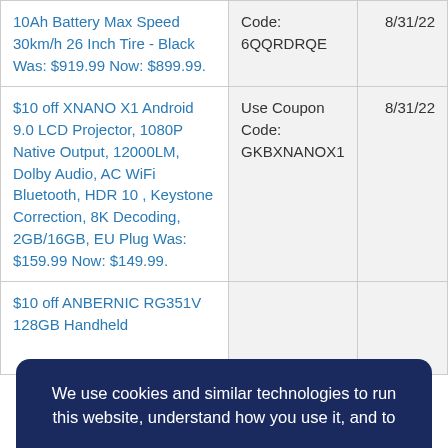| Deal | Coupon | Expiry |
| --- | --- | --- |
| 10Ah Battery Max Speed 30km/h 26 Inch Tire - Black Was: $919.99 Now: $899.99. | Code: 6QQRDRQE | 8/31/22 |
| $10 off XNANO X1 Android 9.0 LCD Projector, 1080P Native Output, 12000LM, Dolby Audio, AC WiFi Bluetooth, HDR 10 , Keystone Correction, 8K Decoding, 2GB/16GB, EU Plug Was: $159.99 Now: $149.99. | Use Coupon Code: GKBXNANOX1 | 8/31/22 |
| $10 off ANBERNIC RG351V 128GB Handheld |  |  |
We use cookies and similar technologies to run this website, understand how you use it, and to